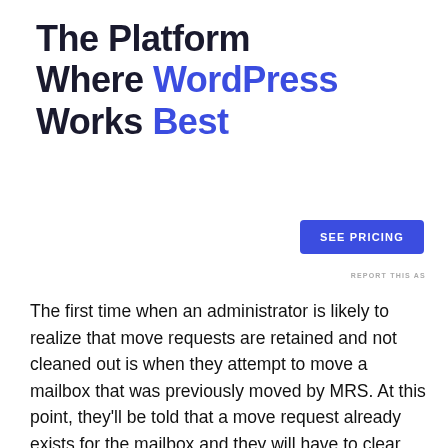The Platform Where WordPress Works Best
SEE PRICING
REPORT THIS AS
The first time when an administrator is likely to realize that move requests are retained and not cleaned out is when they attempt to move a mailbox that was previously moved by MRS. At this point, they'll be told that a move request already exists for the mailbox and they will have to clear the move request before they are able to proceed. The Exchange Management Console (EMC) attempts to bring the fact that a mailbox has a move request registered to the attention of administrators by displaying a different